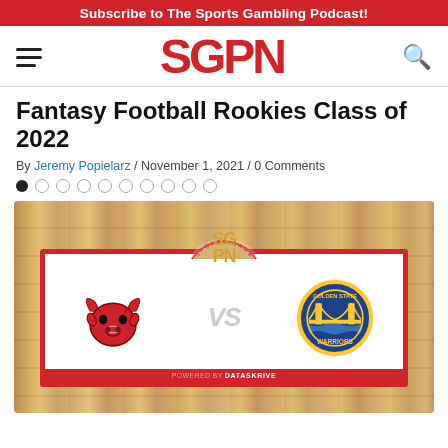Subscribe to The Sports Gambling Podcast!
[Figure (logo): SGPN (Sports Gambling Podcast Network) logo in red block letters]
Fantasy Football Rookies Class of 2022
By Jeremy Popielarz / November 1, 2021 / 0 Comments
[Figure (other): Pagination dots — one filled black dot followed by nine empty circle dots]
[Figure (illustration): SGPN matchup graphic on a wood basketball court floor background. A white card with red border shows the Chicago Bulls logo vs the Golden State Warriors logo, with SGPN circle logo at top center and 'Powered by DataSkrive' at bottom.]